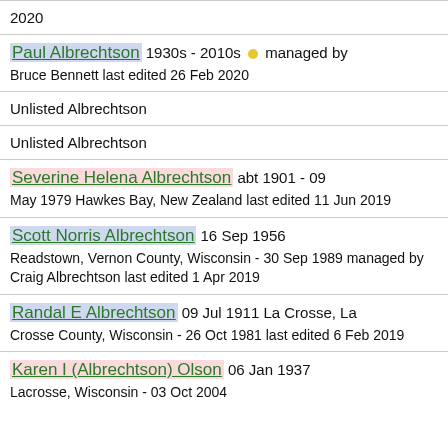2020
Paul Albrechtson 1930s - 2010s managed by Bruce Bennett last edited 26 Feb 2020
Unlisted Albrechtson
Unlisted Albrechtson
Severine Helena Albrechtson abt 1901 - 09 May 1979 Hawkes Bay, New Zealand last edited 11 Jun 2019
Scott Norris Albrechtson 16 Sep 1956 Readstown, Vernon County, Wisconsin - 30 Sep 1989 managed by Craig Albrechtson last edited 1 Apr 2019
Randal E Albrechtson 09 Jul 1911 La Crosse, La Crosse County, Wisconsin - 26 Oct 1981 last edited 6 Feb 2019
Karen I (Albrechtson) Olson 06 Jan 1937 Lacrosse, Wisconsin - 03 Oct 2004